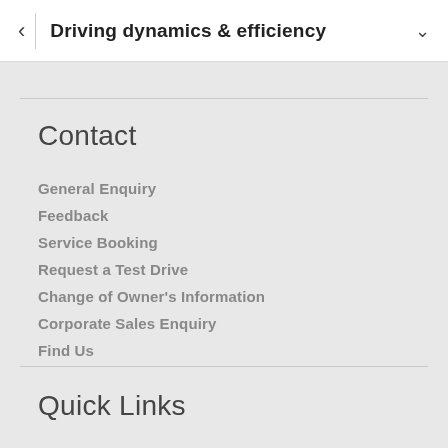Driving dynamics & efficiency
Contact
General Enquiry
Feedback
Service Booking
Request a Test Drive
Change of Owner's Information
Corporate Sales Enquiry
Find Us
Quick Links